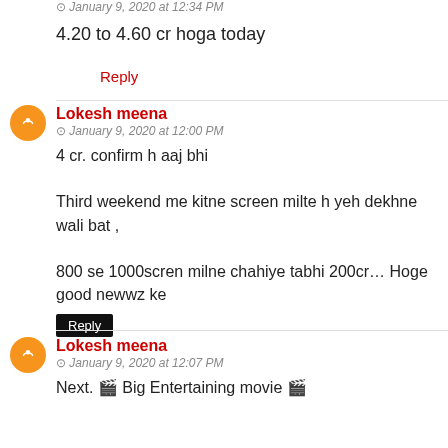January 9, 2020 at 12:34 PM
4.20 to 4.60 cr hoga today
Reply
Lokesh meena
January 9, 2020 at 12:00 PM
4 cr. confirm h aaj bhi

Third weekend me kitne screen milte h yeh dekhne wali bat ,

800 se 1000scren milne chahiye tabhi 200cr... Hoge good newwz ke
Reply
Lokesh meena
January 9, 2020 at 12:07 PM
Next. 🎬 Big Entertaining movie 🎬